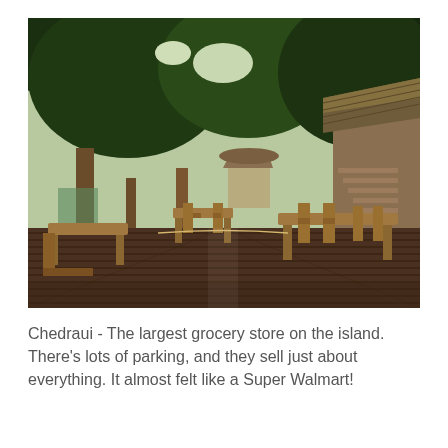[Figure (photo): Outdoor wooden deck dining area of a tropical restaurant with wooden tables and chairs, surrounded by large green trees. In the background are thatched-roof palapas and a staircase leading to a second-level structure. The deck is dark-stained wood and the overall setting appears lush and tropical.]
Chedraui - The largest grocery store on the island.  There's lots of parking, and they sell just about everything.  It almost felt like a Super Walmart!